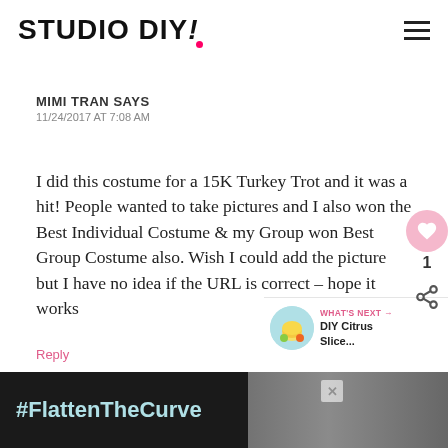STUDIO DIY!
MIMI TRAN SAYS
11/24/2017 AT 7:08 AM
I did this costume for a 15K Turkey Trot and it was a hit! People wanted to take pictures and I also won the Best Individual Costume & my Group won Best Group Costume also. Wish I could add the picture but I have no idea if the URL is correct – hope it works
Reply
WHAT'S NEXT → DIY Citrus Slice...
#FlattenTheCurve